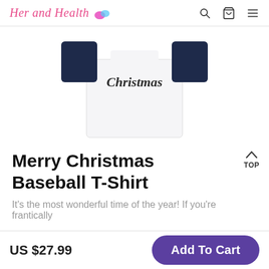Her and Health
[Figure (photo): Back view of a white and navy blue baseball t-shirt with 'Christmas' written in script on the back, displayed flat on white background]
Merry Christmas Baseball T-Shirt
It's the most wonderful time of the year! If you're frantically
US $27.99
Add To Cart